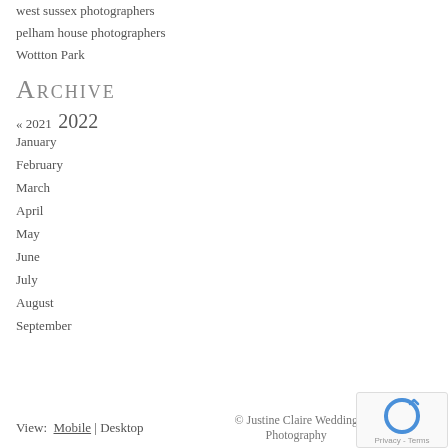west sussex photographers
pelham house photographers
Wottton Park
Archive
« 2021  2022
January
February
March
April
May
June
July
August
September
View: Mobile | Desktop  © Justine Claire Wedding Photography